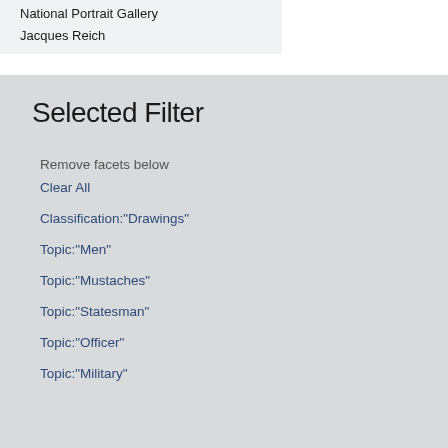National Portrait Gallery
Jacques Reich
Selected Filter
Remove facets below
Clear All
Classification:"Drawings"
Topic:"Men"
Topic:"Mustaches"
Topic:"Statesman"
Topic:"Officer"
Topic:"Military"